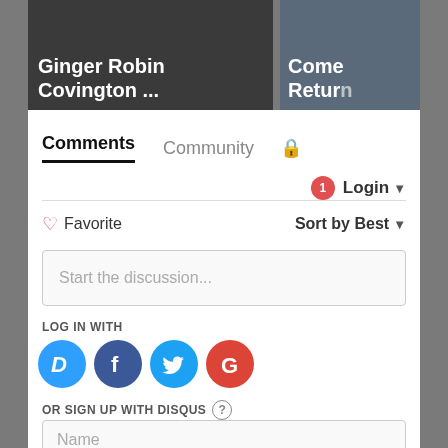[Figure (screenshot): Top image thumbnails showing 'Ginger Robin Covington ...' and 'Come Return' article previews]
Comments	Community	🔒
🔔1  Login ▾
♡ Favorite		Sort by Best ▾
Start the discussion...
LOG IN WITH
[Figure (logo): Social login icons: Disqus (D), Facebook (f), Twitter (bird), Google (G)]
OR SIGN UP WITH DISQUS ?
Name